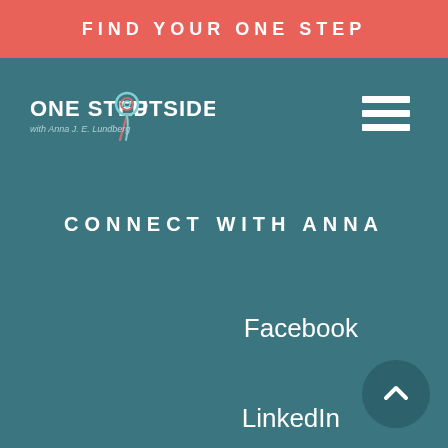FIND YOUR ONE STEP
[Figure (logo): One Step Outside podcast logo with stylized pin/location marker icon and text 'ONE STEP OUTSIDE with Anna J. E. Lundberg']
[Figure (other): Hamburger menu icon with three horizontal white lines]
CONNECT WITH ANNA
Facebook
LinkedIn
[Figure (other): Back to top button - circular dark teal button with upward chevron arrow]